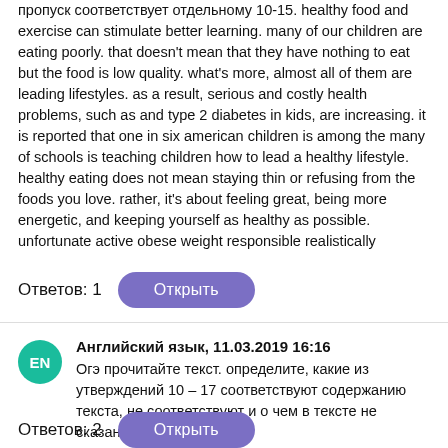пропуск соответствует отдельному 10-15. healthy food and exercise can stimulate better learning. many of our children are eating poorly. that doesn't mean that they have nothing to eat but the food is low quality. what's more, almost all of them are leading lifestyles. as a result, serious and costly health problems, such as and type 2 diabetes in kids, are increasing. it is reported that one in six american children is among the many of schools is teaching children how to lead a healthy lifestyle. healthy eating does not mean staying thin or refusing from the foods you love. rather, it's about feeling great, being more energetic, and keeping yourself as healthy as possible. unfortunate active obese weight responsible realistically
Ответов: 1
Открыть
Английский язык, 11.03.2019 16:16
Огэ прочитайте текст. определите, какие из утверждений 10 – 17 соответствуют содержанию текста, не соответствуют и о чем в тексте не сказано
Ответов: 2
Открыть